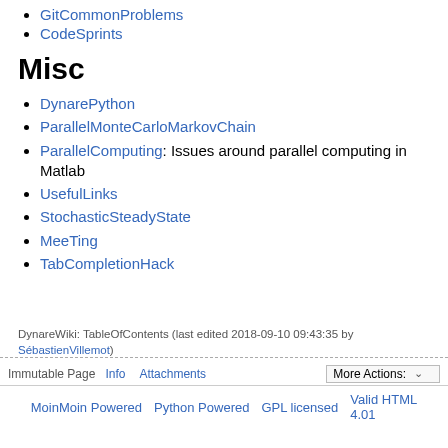GitCommonProblems
CodeSprints
Misc
DynarePython
ParallelMonteCarloMarkovChain
ParallelComputing: Issues around parallel computing in Matlab
UsefulLinks
StochasticSteadyState
MeeTing
TabCompletionHack
DynareWiki: TableOfContents (last edited 2018-09-10 09:43:35 by SébastienVillemot)
Immutable Page   Info   Attachments   More Actions:   MoinMoin Powered   Python Powered   GPL licensed   Valid HTML 4.01